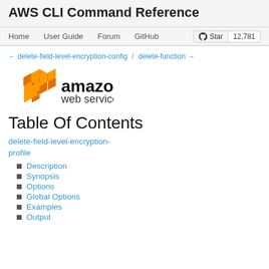AWS CLI Command Reference
Home   User Guide   Forum   GitHub   Star 12,781
← delete-field-level-encryption-config / delete-function →
[Figure (logo): Amazon Web Services logo with orange cube icon and 'amazon web services' text]
Table Of Contents
delete-field-level-encryption-profile
Description
Synopsis
Options
Global Options
Examples
Output